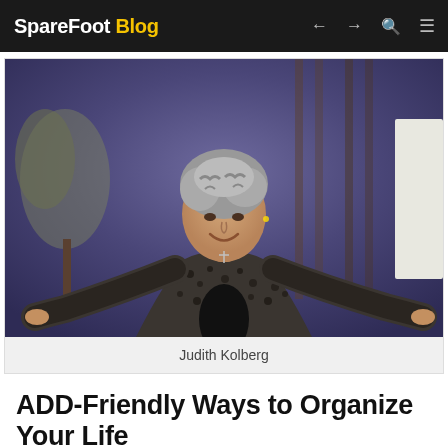SpareFoot Blog
[Figure (photo): Woman with gray curly hair wearing a leopard print jacket, arms spread wide, smiling on a stage with purple background and tree decor.]
Judith Kolberg
ADD-Friendly Ways to Organize Your Life
Authors: Judith Kolberg and Kathleen Nadeau